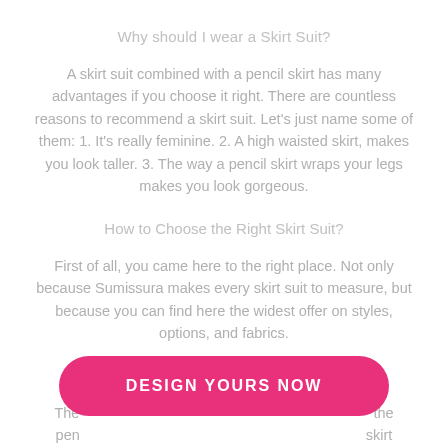Why should I wear a Skirt Suit?
A skirt suit combined with a pencil skirt has many advantages if you choose it right. There are countless reasons to recommend a skirt suit. Let's just name some of them: 1. It's really feminine. 2. A high waisted skirt, makes you look taller. 3. The way a pencil skirt wraps your legs makes you look gorgeous.
How to Choose the Right Skirt Suit?
First of all, you came here to the right place. Not only because Sumissura makes every skirt suit to measure, but because you can find here the widest offer on styles, options, and fabrics.
Business Skirt Suits
The … the pencil … skirt that is too short (unless you really want to show those
[Figure (other): Pink rounded rectangle button with white bold text 'DESIGN YOURS NOW']